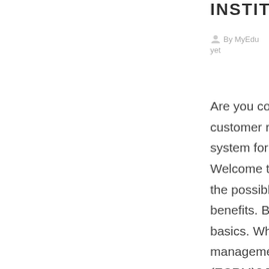INSTITUTIONS
By MyEdu  |  No comments yet
Are you considering implementing a customer relationship management system for your educational institute? Welcome to the club!  We will answer all the possible concerns and highlight the benefits. But, first, let's start with the basics. What's customer relationship management software for education (ECRM)? The software handles communication with investors, donors, teachers, trainees, and prospective